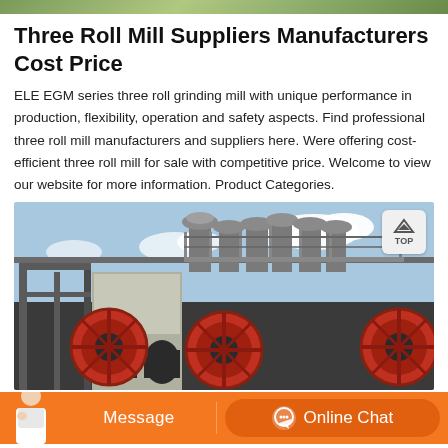[Figure (photo): Top partial strip image showing green outdoor/landscape scene]
Three Roll Mill Suppliers Manufacturers Cost Price
ELE EGM series three roll grinding mill with unique performance in production, flexibility, operation and safety aspects. Find professional three roll mill manufacturers and suppliers here. Were offering cost-efficient three roll mill for sale with competitive price. Welcome to view our website for more information. Product Categories.
[Figure (photo): Industrial facility showing large roll mill machinery with red circular rolls, steel framework, and overhead ventilation structures against blue sky. A TOP navigation button appears in the upper right corner.]
Message   Online Chat